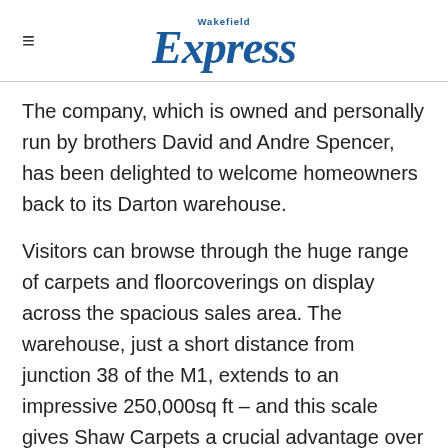Wakefield Express
The company, which is owned and personally run by brothers David and Andre Spencer, has been delighted to welcome homeowners back to its Darton warehouse.
Visitors can browse through the huge range of carpets and floorcoverings on display across the spacious sales area. The warehouse, just a short distance from junction 38 of the M1, extends to an impressive 250,000sq ft – and this scale gives Shaw Carpets a crucial advantage over many competitors.